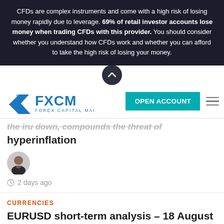CFDs are complex instruments and come with a high risk of losing money rapidly due to leverage. 69% of retail investor accounts lose money when trading CFDs with this provider. You should consider whether you understand how CFDs work and whether you can afford to take the high risk of losing your money.
[Figure (logo): FXCM Forex Capital Markets logo with stylized double-arrow icon in blue]
OPEN ACCOUNT
the iru down, compounds the threat of hyperinflation
[Figure (photo): Circular author avatar photo of a dark-haired man in a suit]
2 days ago
CURRENCIES
EURUSD short-term analysis – 18 August 2022
[Figure (photo): Circular author avatar photo of a dark-haired man in a suit]
2 days ago